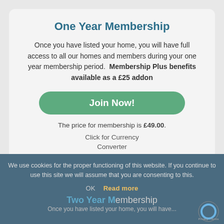One Year Membership
Once you have listed your home, you will have full access to all our homes and members during your one year membership period.  Membership Plus benefits available as a £25 addon
[Figure (other): Green rounded button with white bold text reading 'Join Now!']
The price for membership is £49.00.
Click for Currency Converter
We use cookies for the proper functioning of this website. If you continue to use this site we will assume that you are consenting to this.
OK  Read more
Two Year Membership
Once you have listed your home, you will have